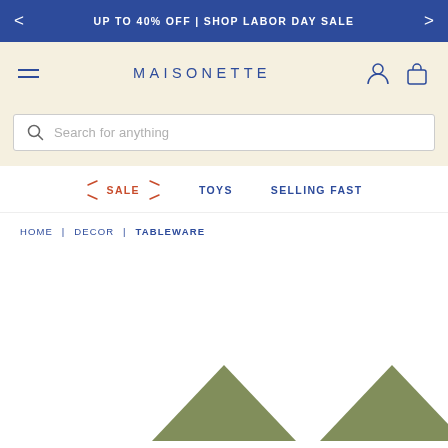UP TO 40% OFF | SHOP LABOR DAY SALE
MAISONETTE
Search for anything
SALE   TOYS   SELLING FAST
HOME | DECOR | TABLEWARE
[Figure (photo): Two triangular green product shapes visible at bottom of page]